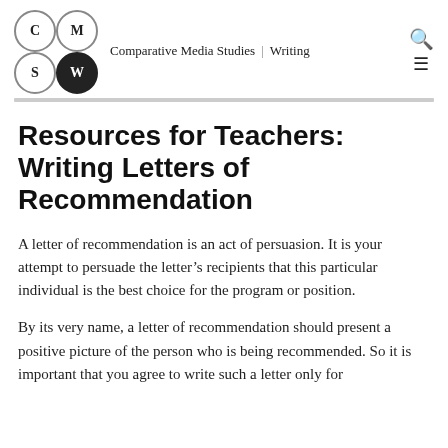Comparative Media Studies | Writing
Resources for Teachers: Writing Letters of Recommendation
A letter of recommendation is an act of persuasion. It is your attempt to persuade the letter’s recipients that this particular individual is the best choice for the program or position.
By its very name, a letter of recommendation should present a positive picture of the person who is being recommended. So it is important that you agree to write such a letter only for